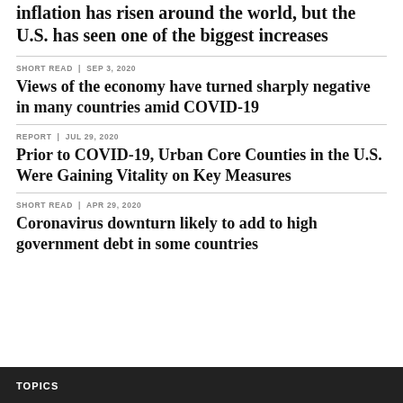inflation has risen around the world, but the U.S. has seen one of the biggest increases
SHORT READ | SEP 3, 2020
Views of the economy have turned sharply negative in many countries amid COVID-19
REPORT | JUL 29, 2020
Prior to COVID-19, Urban Core Counties in the U.S. Were Gaining Vitality on Key Measures
SHORT READ | APR 29, 2020
Coronavirus downturn likely to add to high government debt in some countries
TOPICS